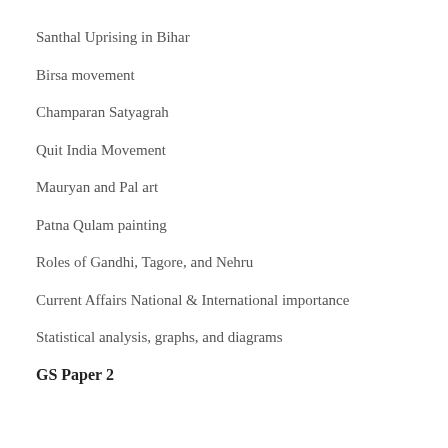Santhal Uprising in Bihar
Birsa movement
Champaran Satyagrah
Quit India Movement
Mauryan and Pal art
Patna Qulam painting
Roles of Gandhi, Tagore, and Nehru
Current Affairs National & International importance
Statistical analysis, graphs, and diagrams
GS Paper 2